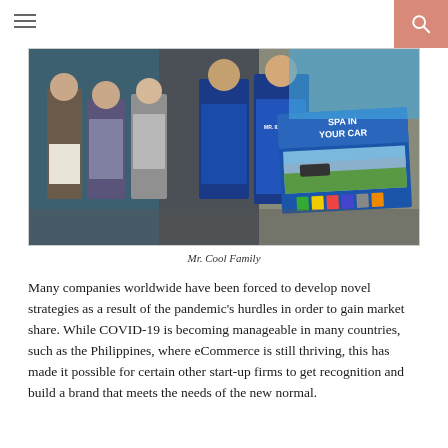[Figure (photo): Group photo of people standing together, with a Mr. Cool product display banner showing 'SPA IN YOUR CAR' product line in the foreground right side]
Mr. Cool Family
Many companies worldwide have been forced to develop novel strategies as a result of the pandemic's hurdles in order to gain market share. While COVID-19 is becoming manageable in many countries, such as the Philippines, where eCommerce is still thriving, this has made it possible for certain other start-up firms to get recognition and build a brand that meets the needs of the new normal.